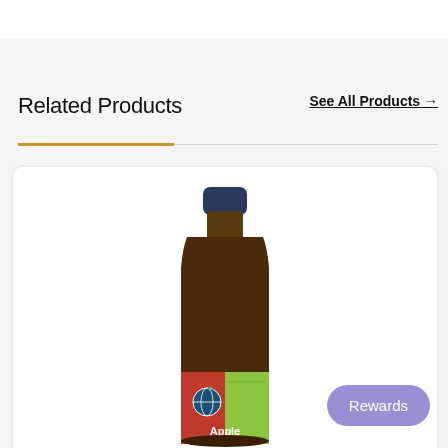Related Products
See All Products →
[Figure (photo): A dark amber glass bottle with a blue screw cap and a colorful label showing a globe/earth logo with red and green sections, with the word 'Apple' partially visible at the bottom — a health/wellness liquid product.]
Rewards